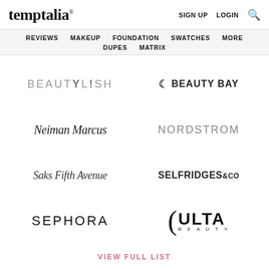temptalia® — SIGN UP  LOGIN  🔍
REVIEWS  MAKEUP  FOUNDATION  SWATCHES  MORE  DUPES  MATRIX
[Figure (logo): Grid of retailer brand logos: Beautylish, Beauty Bay, Neiman Marcus, Nordstrom, Saks Fifth Avenue, Selfridges & Co, Sephora, Ulta Beauty]
VIEW FULL LIST
RECENT REVIEWS
[Figure (photo): Partial thumbnail image (peach/mauve color swatch) with EMBELLISHMENT text visible at bottom]